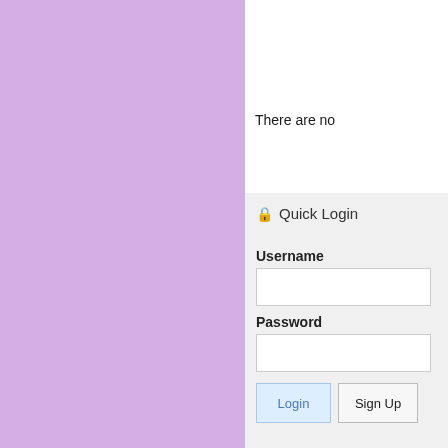[Figure (illustration): Purple/lavender background panel on the left side of the page]
There are no
🔒 Quick Login
Username
Password
Login
Sign Up